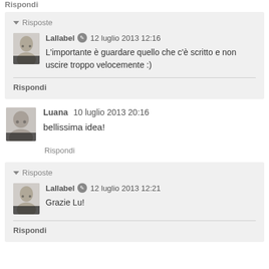Risposte
Lallabel 12 luglio 2013 12:16
L'importante è guardare quello che c'è scritto e non uscire troppo velocemente :)
Rispondi
Luana  10 luglio 2013 20:16
bellissima idea!
Rispondi
Risposte
Lallabel 12 luglio 2013 12:21
Grazie Lu!
Rispondi